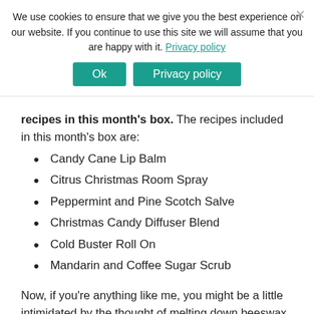We use cookies to ensure that we give you the best experience on our website. If you continue to use this site we will assume that you are happy with it. Privacy policy
recipes in this month's box. The recipes included in this month's box are:
Candy Cane Lip Balm
Citrus Christmas Room Spray
Peppermint and Pine Scotch Salve
Christmas Candy Diffuser Blend
Cold Buster Roll On
Mandarin and Coffee Sugar Scrub
Now, if you're anything like me, you might be a little intimidated by the thought of melting down beeswax